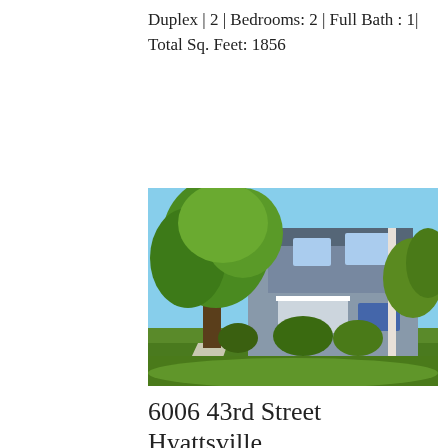Duplex | 2 | Bedrooms: 2 | Full Bath : 1| Total Sq. Feet: 1856
[Figure (photo): Exterior photo of a two-story duplex house with gray shingle siding, large trees in the foreground with green foliage, well-manicured green lawn, and a concrete walkway leading to the entrance. Blue sky visible through the trees.]
6006 43rd Street Hyattsville,